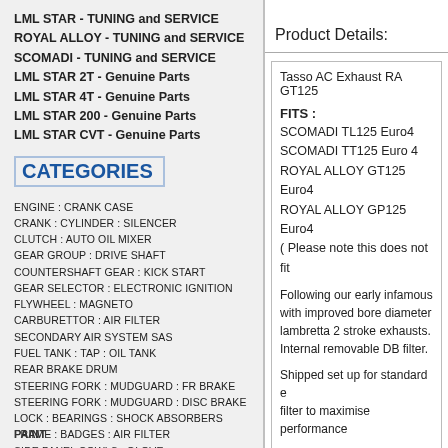LML STAR - TUNING and SERVICE
ROYAL ALLOY - TUNING and SERVICE
SCOMADI - TUNING and SERVICE
LML STAR 2T - Genuine Parts
LML STAR 4T - Genuine Parts
LML STAR 200 - Genuine Parts
LML STAR CVT - Genuine Parts
CATEGORIES
ENGINE : CRANK CASE
CRANK : CYLINDER : SILENCER
CLUTCH : AUTO OIL MIXER
GEAR GROUP : DRIVE SHAFT
COUNTERSHAFT GEAR : KICK START
GEAR SELECTOR : ELECTRONIC IGNITION
FLYWHEEL : MAGNETO
CARBURETTOR : AIR FILTER
SECONDARY AIR SYSTEM SAS
FUEL TANK : TAP : OIL TANK
REAR BRAKE DRUM
STEERING FORK : MUDGUARD : FR BRAKE
STEERING FORK : MUDGUARD : DISC BRAKE
LOCK : BEARINGS : SHOCK ABSORBERS
FRAME : BADGES : AIR FILTER
SIDE PANEL COWLS : GLOVE COMPARTMENT
CENTRE STAND : FLOOR MAT : MAT
CENTRE STAND : FLOOR STRIPS : MAT
WHEEL RIM : TYRES : TOOL KIT
HANDLEBAR : SPEEDOMETER
CABLE TRANSMISSION : REAR BRAKE PEDAL
HORN : LIGHT SWITCH : HEAD LAMPS
PAINT
Product Details:
Tasso AC Exhaust RA GT125
FITS : SCOMADI TL125 Euro4, SCOMADI TT125 Euro 4, ROYAL ALLOY GT125 Euro4, ROYAL ALLOY GP125 Euro4, ( Please note this does not fit
Following our early infamous with improved bore diameter lambretta 2 stroke exhausts. Internal removable DB filter.
Shipped set up for standard e filter to maximise performance
Choose either ROAD or RA
Select your tailpipe outlet (dre
19mm ROAD for a happy DB 22mm RACE for a deep grow You can choose either RED